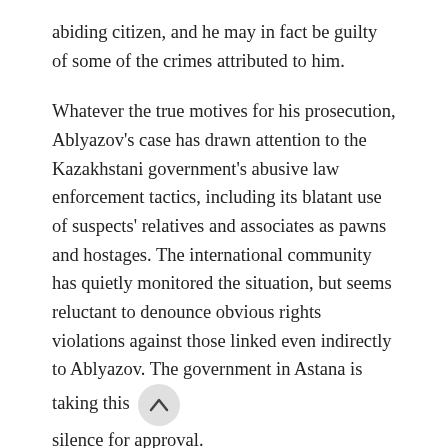abiding citizen, and he may in fact be guilty of some of the crimes attributed to him.
Whatever the true motives for his prosecution, Ablyazov's case has drawn attention to the Kazakhstani government's abusive law enforcement tactics, including its blatant use of suspects' relatives and associates as pawns and hostages. The international community has quietly monitored the situation, but seems reluctant to denounce obvious rights violations against those linked even indirectly to Ablyazov. The government in Astana is taking this silence for approval.
To hold Kazakhstan's authorities accountable for such violations, international bodies and democratic governments should include the cases of Ablyazov's former associates in any general assessment of the